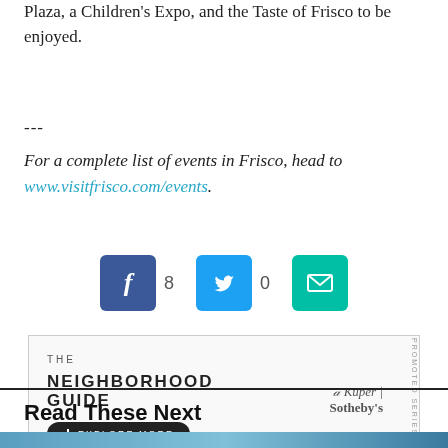Plaza, a Children's Expo, and the Taste of Frisco to be enjoyed.
---
For a complete list of events in Frisco, head to www.visitfrisco.com/events.
[Figure (infographic): Social share buttons: Facebook button with count 8, Twitter button with count 0, Email button]
[Figure (infographic): Advertisement banner for The Neighborhood Guide by Kuper Sotheby's with Explore More button. Labeled Promoted Series.]
Read These Next